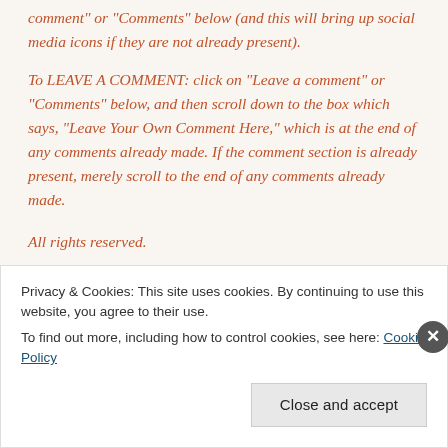comment" or "Comments" below (and this will bring up social media icons if they are not already present).
To LEAVE A COMMENT: click on "Leave a comment" or "Comments" below, and then scroll down to the box which says, "Leave Your Own Comment Here," which is at the end of any comments already made. If the comment section is already present, merely scroll to the end of any comments already made.
All rights reserved.
Any ads following this note are by WordPress and
Privacy & Cookies: This site uses cookies. By continuing to use this website, you agree to their use.
To find out more, including how to control cookies, see here: Cookie Policy
Close and accept